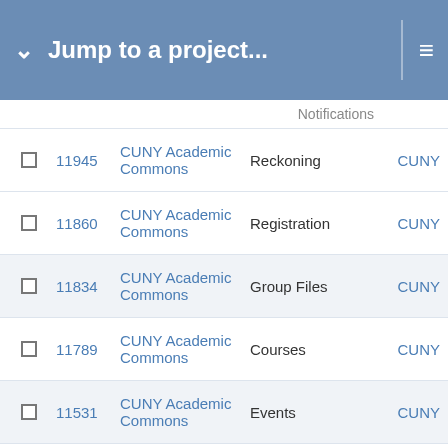Jump to a project...
|  | # | Project | Label | Tracker |
| --- | --- | --- | --- | --- |
|  | Notifications |  |  |  |
| ☐ | 11945 | CUNY Academic Commons | Reckoning | CUNY |
| ☐ | 11860 | CUNY Academic Commons | Registration | CUNY |
| ☐ | 11834 | CUNY Academic Commons | Group Files | CUNY |
| ☐ | 11789 | CUNY Academic Commons | Courses | CUNY |
| ☐ | 11531 | CUNY Academic Commons | Events | CUNY |
| ☐ | 11131 | CUNY Academic Commons |  | CUNY |
| ☐ | 10659 | CUNY Academic Commons | Group Forums | CUNY |